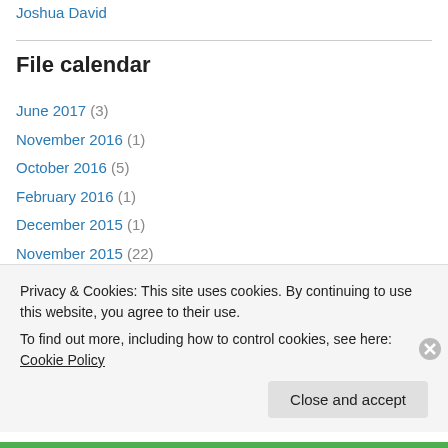Joshua David
File calendar
June 2017 (3)
November 2016 (1)
October 2016 (5)
February 2016 (1)
December 2015 (1)
November 2015 (22)
October 2015 (7)
August 2015 (1)
April 2015 (1)
Privacy & Cookies: This site uses cookies. By continuing to use this website, you agree to their use. To find out more, including how to control cookies, see here: Cookie Policy
Close and accept